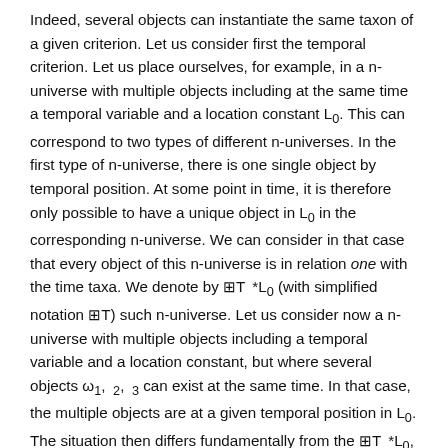Indeed, several objects can instantiate the same taxon of a given criterion. Let us consider first the temporal criterion. Let us place ourselves, for example, in a n-universe with multiple objects including at the same time a temporal variable and a location constant L0. This can correspond to two types of different n-universes. In the first type of n-universe, there is one single object by temporal position. At some point in time, it is therefore only possible to have a unique object in L0 in the corresponding n-universe. We can consider in that case that every object of this n-universe is in relation one with the time taxa. We denote by ⊞T *L0 (with simplified notation ⊞T) such n-universe. Let us consider now a n-universe with multiple objects including a temporal variable and a location constant, but where several objects ω1, ω2, ω3 can exist at the same time. In that case, the multiple objects are at a given temporal position in L0. The situation then differs fundamentally from the ⊞T *L0, because several objects can now occupy the same given temporal position. In other words, the objects can coexist at a given time, so that ...